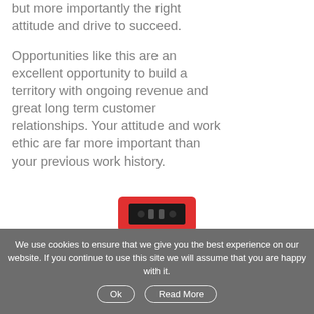but more importantly the right attitude and drive to succeed.

Opportunities like this are an excellent opportunity to build a territory with ongoing revenue and great long term customer relationships. Your attitude and work ethic are far more important than your previous work history.
[Figure (photo): Partial view of a red electronic device/product at the bottom of the page]
We use cookies to ensure that we give you the best experience on our website. If you continue to use this site we will assume that you are happy with it. Ok Read More